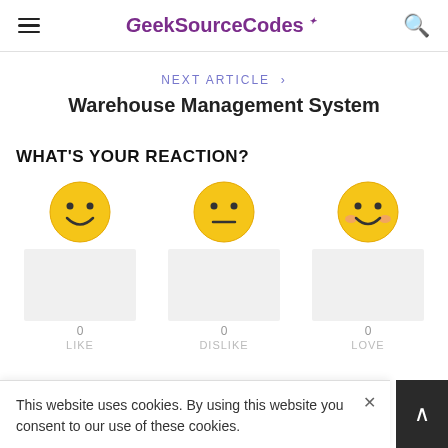GeekSourceCodes
NEXT ARTICLE
Warehouse Management System
WHAT'S YOUR REACTION?
[Figure (infographic): Three emoji reaction buttons: smiley face (LIKE, 0), neutral face (DISLIKE, 0), smiling face with rosy cheeks (LOVE, 0). Each emoji is above a grey bar and shows count 0 and a label.]
This website uses cookies. By using this website you consent to our use of these cookies.